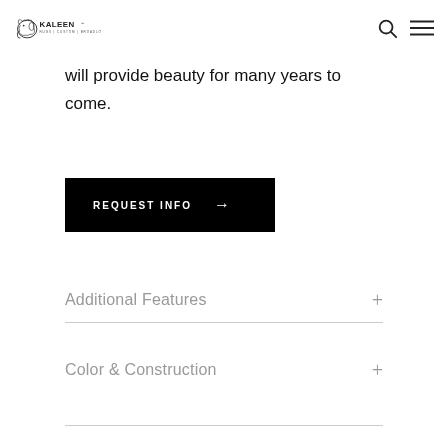KALEEN RUGS|CUSTOM|BROADLOOM
will provide beauty for many years to come.
REQUEST INFO →
Additional Features
Color & Construction